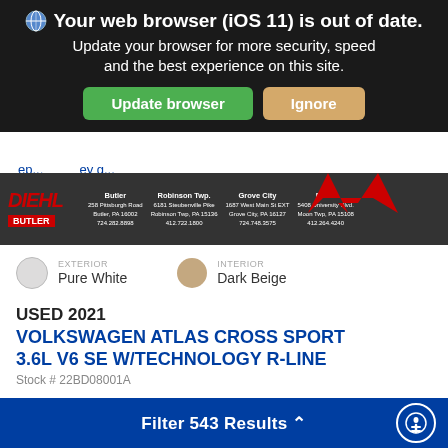Your web browser (iOS 11) is out of date. Update your browser for more security, speed and the best experience on this site. Update browser  Ignore
[Figure (screenshot): Diehl Butler dealership banner with multiple location addresses and a red arrow graphic]
EXTERIOR
Pure White
INTERIOR
Dark Beige
USED 2021 VOLKSWAGEN ATLAS CROSS SPORT 3.6L V6 SE W/TECHNOLOGY R-LINE
Stock # 22BD08001A
Mileage: 4,220
Body Style: SUV
Drivetrain: AWD
Filter 543 Results ^